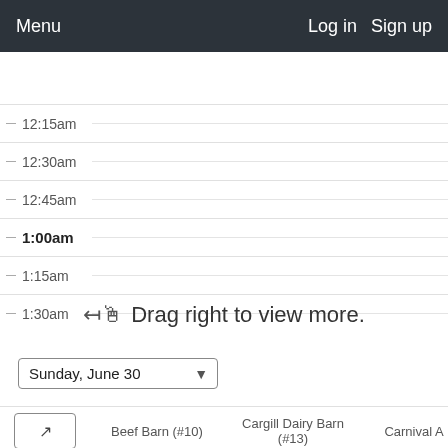Menu   Log in   Sign up
12:15am
12:30am
12:45am
1:00am
1:15am
1:30am
Drag right to view more.
Sunday, June 30
Beef Barn (#10)   Cargill Dairy Barn (#13)   Carnival A